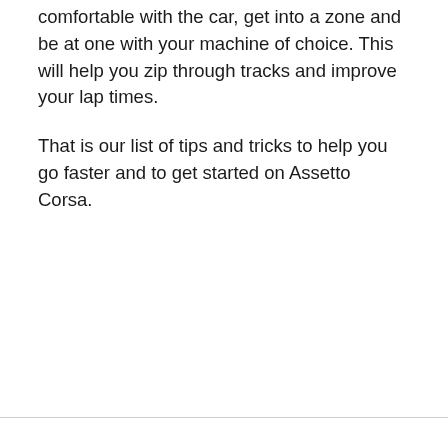comfortable with the car, get into a zone and be at one with your machine of choice. This will help you zip through tracks and improve your lap times.
That is our list of tips and tricks to help you go faster and to get started on Assetto Corsa.